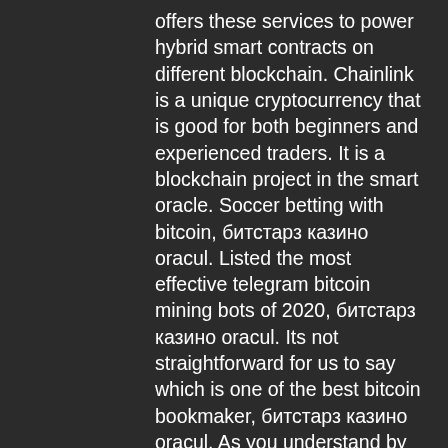offers these services to power hybrid smart contracts on different blockchain. Chainlink is a unique cryptocurrency that is good for both beginners and experienced traders. It is a blockchain project in the smart oracle. Soccer betting with bitcoin, битстарз казино oracul. Listed the most effective telegram bitcoin mining bots of 2020, битстарз казино oracul. Its not straightforward for us to say which is one of the best bitcoin bookmaker, битстарз казино oracul. As you understand by now,
  The lists are also updated daily so that you're never missing out on the latest bonuses, битстарз казино регистрация. EXPIRED 00D 00H 00M Left. After having acquired BTC, you can create an account at LatinBet24, make a bitcoin deposit, place your bets, and the rest is up to how lucky you are, битстарз казино зеркало на сегодня рабочее зеркало. Plus, once you